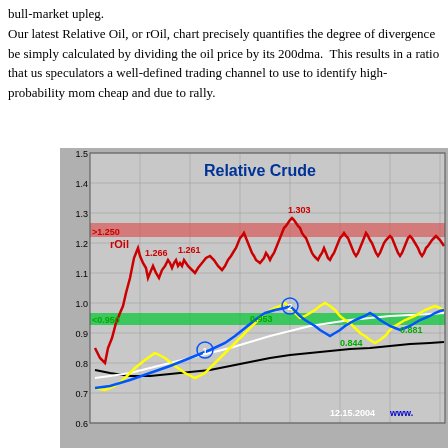bull-market upleg.
Our latest Relative Oil, or rOil, chart precisely quantifies the degree of divergence be- simply calculated by dividing the oil price by its 200dma. This results in a ratio that us speculators a well-defined trading channel to use to identify high-probability mom- cheap and due to rally.
[Figure (continuous-plot): rOil chart showing relative crude oil price (oil price divided by its 200dma). Red line shows rOil with peaks labeled 1.266, 1.261, 1.303. Red horizontal band at ~1.250 labeled >1.250. Green horizontal band at ~0.950 labeled <0.950. Blue line labeled with circled 1 and 2, values 0.953, 0.844, 0.881. Yellow line showing wider swings. White line and black line also shown. Date label 12.15.2004. Y-axis from 0.6 to 1.5.]